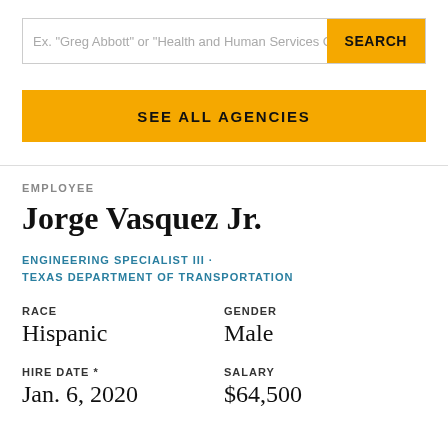Ex. "Greg Abbott" or "Health and Human Services C...
SEARCH
SEE ALL AGENCIES
EMPLOYEE
Jorge Vasquez Jr.
ENGINEERING SPECIALIST III · TEXAS DEPARTMENT OF TRANSPORTATION
RACE
Hispanic
GENDER
Male
HIRE DATE *
Jan. 6, 2020
SALARY
$64,500